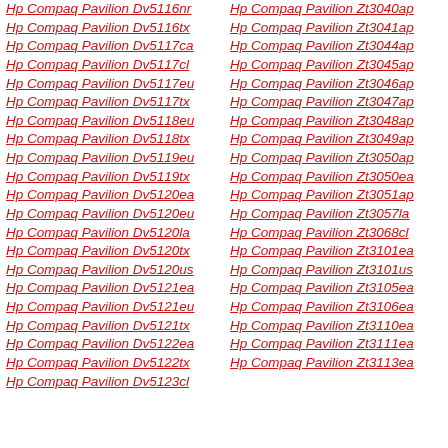Hp Compaq Pavilion Dv5116nr
Hp Compaq Pavilion Dv5116tx
Hp Compaq Pavilion Dv5117ca
Hp Compaq Pavilion Dv5117cl
Hp Compaq Pavilion Dv5117eu
Hp Compaq Pavilion Dv5117tx
Hp Compaq Pavilion Dv5118eu
Hp Compaq Pavilion Dv5118tx
Hp Compaq Pavilion Dv5119eu
Hp Compaq Pavilion Dv5119tx
Hp Compaq Pavilion Dv5120ea
Hp Compaq Pavilion Dv5120eu
Hp Compaq Pavilion Dv5120la
Hp Compaq Pavilion Dv5120tx
Hp Compaq Pavilion Dv5120us
Hp Compaq Pavilion Dv5121ea
Hp Compaq Pavilion Dv5121eu
Hp Compaq Pavilion Dv5121tx
Hp Compaq Pavilion Dv5122ea
Hp Compaq Pavilion Dv5122tx
Hp Compaq Pavilion Dv5123cl
Hp Compaq Pavilion Zt3040ap
Hp Compaq Pavilion Zt3041ap
Hp Compaq Pavilion Zt3044ap
Hp Compaq Pavilion Zt3045ap
Hp Compaq Pavilion Zt3046ap
Hp Compaq Pavilion Zt3047ap
Hp Compaq Pavilion Zt3048ap
Hp Compaq Pavilion Zt3049ap
Hp Compaq Pavilion Zt3050ap
Hp Compaq Pavilion Zt3050ea
Hp Compaq Pavilion Zt3051ap
Hp Compaq Pavilion Zt3057la
Hp Compaq Pavilion Zt3068cl
Hp Compaq Pavilion Zt3101ea
Hp Compaq Pavilion Zt3101us
Hp Compaq Pavilion Zt3105ea
Hp Compaq Pavilion Zt3106ea
Hp Compaq Pavilion Zt3110ea
Hp Compaq Pavilion Zt3111ea
Hp Compaq Pavilion Zt3113ea